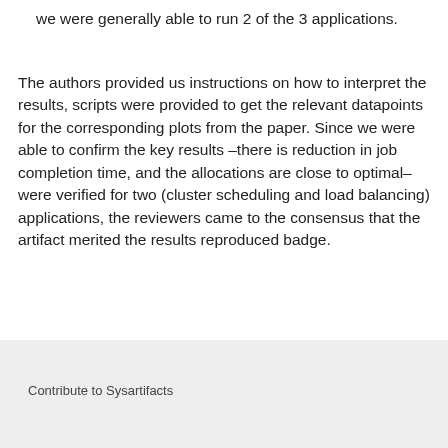we were generally able to run 2 of the 3 applications.
The authors provided us instructions on how to interpret the results, scripts were provided to get the relevant datapoints for the corresponding plots from the paper. Since we were able to confirm the key results –there is reduction in job completion time, and the allocations are close to optimal– were verified for two (cluster scheduling and load balancing) applications, the reviewers came to the consensus that the artifact merited the results reproduced badge.
Contribute to Sysartifacts